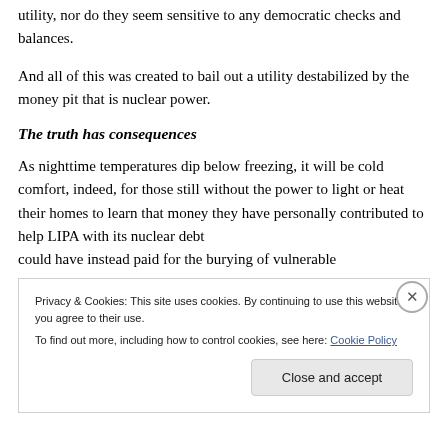utility, nor do they seem sensitive to any democratic checks and balances.
And all of this was created to bail out a utility destabilized by the money pit that is nuclear power.
The truth has consequences
As nighttime temperatures dip below freezing, it will be cold comfort, indeed, for those still without the power to light or heat their homes to learn that money they have personally contributed to help LIPA with its nuclear debt could have instead paid for the burying of vulnerable
Privacy & Cookies: This site uses cookies. By continuing to use this website, you agree to their use.
To find out more, including how to control cookies, see here: Cookie Policy
Close and accept